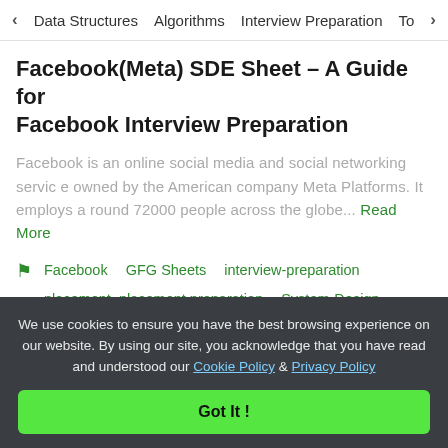< Data Structures   Algorithms   Interview Preparation   To>
Facebook(Meta) SDE Sheet – A Guide for Facebook Interview Preparation
Facebook is an online social media and social networking service owned by the American company Meta Platforms. It employs around 72000 people across the globe... Read More
Facebook  GFG Sheets  interview-preparation  placement  placement preparation  System-Design  Algorithms  Computer Subject  Data Structures  Design Pattern  GBlog
Google SDE Sheet – A Guide for Google
We use cookies to ensure you have the best browsing experience on our website. By using our site, you acknowledge that you have read and understood our Cookie Policy & Privacy Policy
Got It !